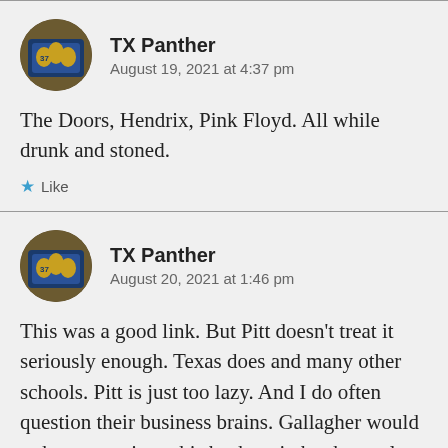TX Panther
August 19, 2021 at 4:37 pm
The Doors, Hendrix, Pink Floyd. All while drunk and stoned.
Like
TX Panther
August 20, 2021 at 1:46 pm
This was a good link. But Pitt doesn’t treat it seriously enough. Texas does and many other schools. Pitt is just too lazy. And I do often question their business brains. Gallagher would rather entertain on his back patio by the pool.